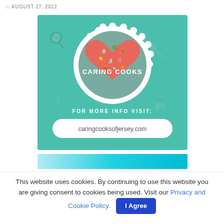© AUGUST 27, 2022
[Figure (logo): Caring Cooks logo on teal background: a scalloped circular badge with a red heart filled with kitchen icons and the text 'CARING COOKS', below which reads 'FOR MORE INFO VISIT:' and a pill-shaped box with 'caringcooksofjersey.com']
[Figure (photo): Partially visible image at the bottom of the page, appears to be a photo with teal/cyan tones]
This website uses cookies. By continuing to use this website you are giving consent to cookies being used. Visit our Privacy and Cookie Policy.
I Agree